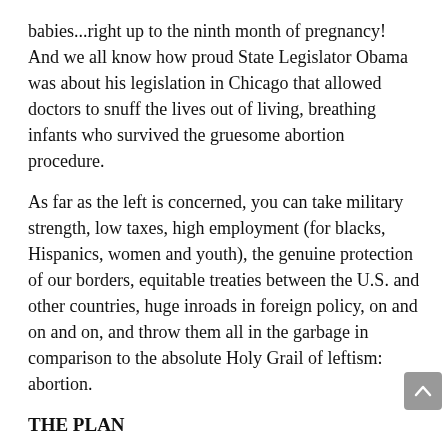babies...right up to the ninth month of pregnancy! And we all know how proud State Legislator Obama was about his legislation in Chicago that allowed doctors to snuff the lives out of living, breathing infants who survived the gruesome abortion procedure.
As far as the left is concerned, you can take military strength, low taxes, high employment (for blacks, Hispanics, women and youth), the genuine protection of our borders, equitable treaties between the U.S. and other countries, huge inroads in foreign policy, on and on and on, and throw them all in the garbage in comparison to the absolute Holy Grail of leftism: abortion.
THE PLAN
The Democrats' initial plan to quash the Kavanaugh nomination was to grill him so relentlessly and to examine his judicial decisions so microscopically that personal and professional flaws would be found to disqualify him for the job. It turned out, to their everlasting anguish, that he passed all the tests with flying colors and the only remaining procedure was a vote in the Senate which promised to be narrow but successful.